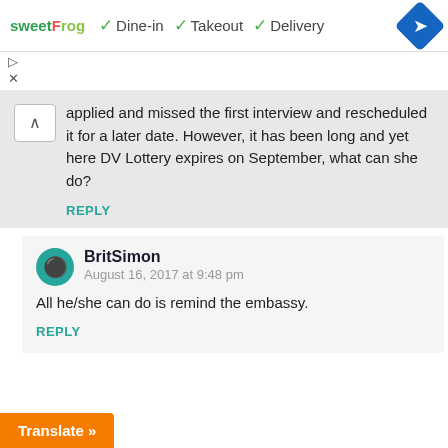[Figure (screenshot): Ad banner for sweetFrog showing Dine-in, Takeout, Delivery options with navigation icon]
applied and missed the first interview and rescheduled it for a later date. However, it has been long and yet here DV Lottery expires on September, what can she do?
REPLY
BritSimon
August 16, 2017 at 9:48 pm
All he/she can do is remind the embassy.
REPLY
Translate »